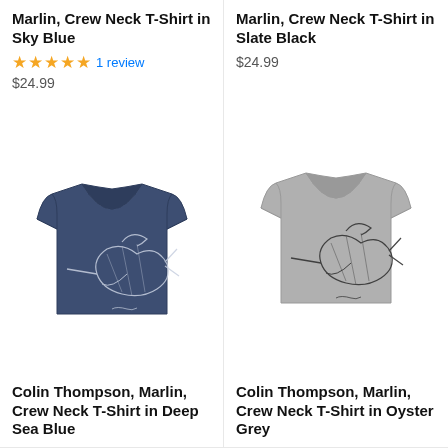Marlin, Crew Neck T-Shirt in Sky Blue
★★★★★ 1 review
$24.99
Marlin, Crew Neck T-Shirt in Slate Black
$24.99
[Figure (photo): Navy blue crew neck t-shirt with marlin fish graphic on back, shown from rear view]
[Figure (photo): Grey crew neck t-shirt with marlin fish graphic on back, shown from rear view]
Colin Thompson, Marlin, Crew Neck T-Shirt in Deep Sea Blue
Colin Thompson, Marlin, Crew Neck T-Shirt in Oyster Grey